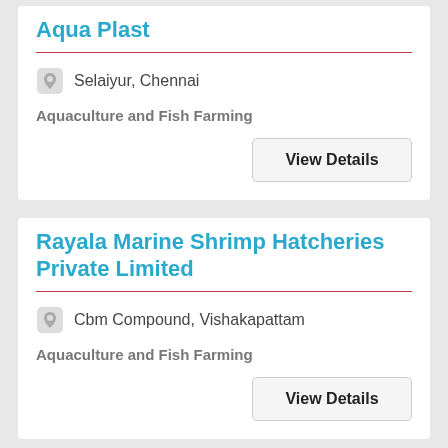Aqua Plast
Selaiyur, Chennai
Aquaculture and Fish Farming
View Details
Rayala Marine Shrimp Hatcheries Private Limited
Cbm Compound, Vishakapattam
Aquaculture and Fish Farming
View Details